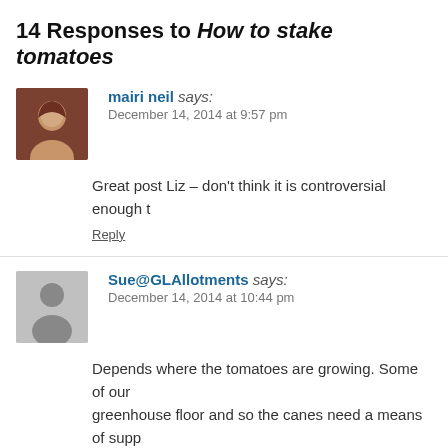14 Responses to How to stake tomatoes
mairi neil says: December 14, 2014 at 9:57 pm
Great post Liz – don't think it is controversial enough t
Reply
Sue@GLAllotments says: December 14, 2014 at 10:44 pm
Depends where the tomatoes are growing. Some of our greenhouse floor and so the canes need a means of supp the way that works for you!
Reply